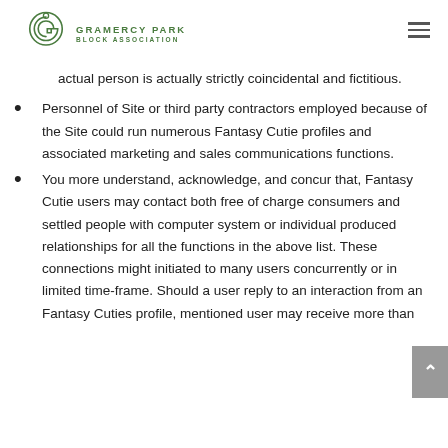GRAMERCY PARK BLOCK ASSOCIATION
actual person is actually strictly coincidental and fictitious.
Personnel of Site or third party contractors employed because of the Site could run numerous Fantasy Cutie profiles and associated marketing and sales communications functions.
You more understand, acknowledge, and concur that, Fantasy Cutie users may contact both free of charge consumers and settled people with computer system or individual produced relationships for all the functions in the above list. These connections might initiated to many users concurrently or in limited time-frame. Should a user reply to an interaction from an Fantasy Cuties profile, mentioned user may receive more than